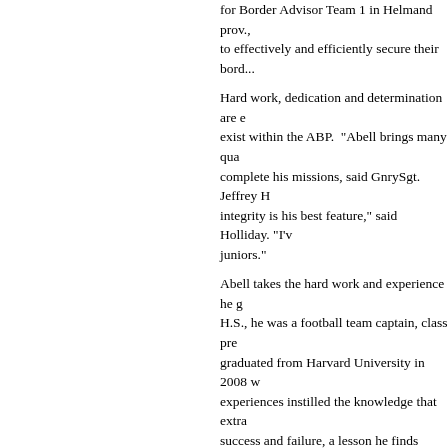for Border Advisor Team 1 in Helmand prov., to effectively and efficiently secure their bord...
Hard work, dedication and determination are exist within the ABP. "Abell brings many qua... complete his missions, said GnrySgt. Jeffrey ... integrity is his best feature," said Holliday. "I'... juniors."
Abell takes the hard work and experience he g... H.S., he was a football team captain, class pre... graduated from Harvard University in 2008 w... experiences instilled the knowledge that extra... success and failure, a lesson he finds applicab...
The 3 professional goals that Abell wants to a... who can command the ABP; to have 90% acco... equipment; and to move them to a new, centra...
“Having strong leaders will ensure that their b... corruption,” Abell said. “Getting them moved... more capabilities and independence.” A stand... and a direct deposit payment system are other...
Abell’s team has seen progress in preparing th... Gah by themselves, “but there’s still work to b... he reflected. “This way, we’re making a sturd... it’s their country to win or lose, and I think me...
[Figure (screenshot): Screenshot_137 image placeholder]